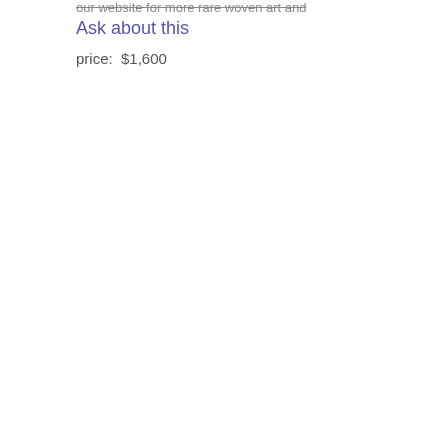our website for more rare woven art and
Ask about this
price:  $1,600